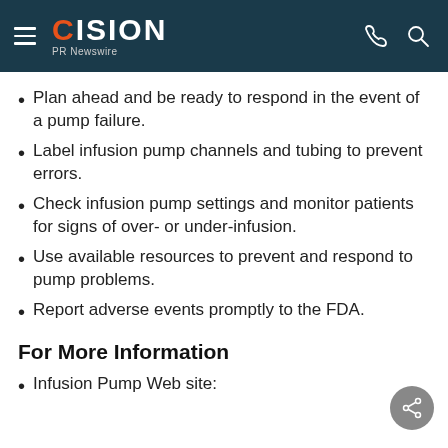CISION PR Newswire
Plan ahead and be ready to respond in the event of a pump failure.
Label infusion pump channels and tubing to prevent errors.
Check infusion pump settings and monitor patients for signs of over- or under-infusion.
Use available resources to prevent and respond to pump problems.
Report adverse events promptly to the FDA.
For More Information
Infusion Pump Web site: